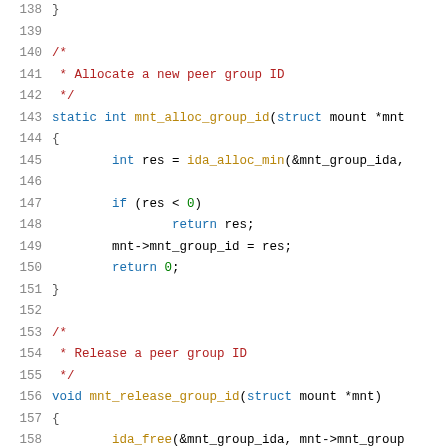138  }
139
140  /*
141   * Allocate a new peer group ID
142   */
143  static int mnt_alloc_group_id(struct mount *mnt
144  {
145          int res = ida_alloc_min(&mnt_group_ida,
146
147          if (res < 0)
148                  return res;
149          mnt->mnt_group_id = res;
150          return 0;
151  }
152
153  /*
154   * Release a peer group ID
155   */
156  void mnt_release_group_id(struct mount *mnt)
157  {
158          ida_free(&mnt_group_ida, mnt->mnt_group
159          mnt->mnt_group_id = 0;